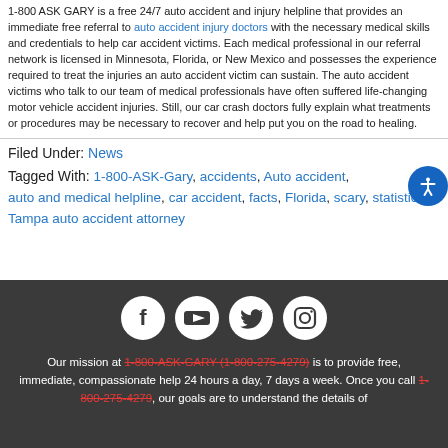1-800 ASK GARY is a free 24/7 auto accident and injury helpline that provides an immediate free referral to auto accident injury doctors with the necessary medical skills and credentials to help car accident victims. Each medical professional in our referral network is licensed in Minnesota, Florida, or New Mexico and possesses the experience required to treat the injuries an auto accident victim can sustain. The auto accident victims who talk to our team of medical professionals have often suffered life-changing motor vehicle accident injuries. Still, our car crash doctors fully explain what treatments or procedures may be necessary to recover and help put you on the road to healing.
Filed Under: News
Tagged With: 1-800-ASK-Gary, accidents, Auto accident, auto and medical helpline, car accident, facts, Florida, scary, statistics, Tampa auto accident attorney
[Figure (infographic): Social media icons: Facebook, YouTube, Twitter, Instagram — white icons on dark grey background]
Our mission at 1-800-ASK-GARY (1-800-275-4279) is to provide free, immediate, compassionate help 24 hours a day, 7 days a week. Once you call 1-800-275-4279, our goals are to understand the details of